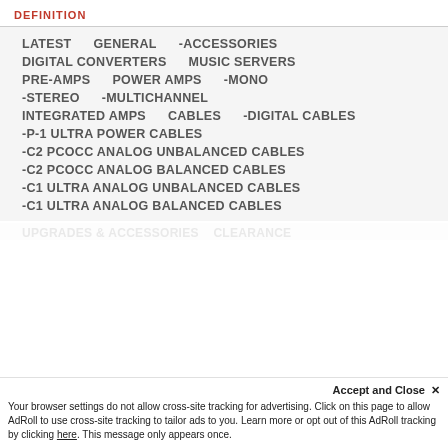DEFINITION
LATEST    GENERAL    -ACCESSORIES
DIGITAL CONVERTERS    MUSIC SERVERS
PRE-AMPS    POWER AMPS    -MONO
-STEREO    -MULTICHANNEL
INTEGRATED AMPS    CABLES    -DIGITAL CABLES
-P-1 ULTRA POWER CABLES
-C2 PCOCC ANALOG UNBALANCED CABLES
-C2 PCOCC ANALOG BALANCED CABLES
-C1 ULTRA ANALOG UNBALANCED CABLES
-C1 ULTRA ANALOG BALANCED CABLES
UPGRADES & ACCESSORIES    CLEARANCE
Accept and Close ✕
Your browser settings do not allow cross-site tracking for advertising. Click on this page to allow AdRoll to use cross-site tracking to tailor ads to you. Learn more or opt out of this AdRoll tracking by clicking here. This message only appears once.